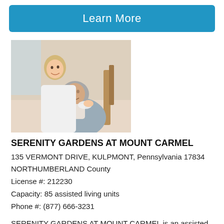[Figure (other): Blue button labeled 'Learn More']
[Figure (photo): A smiling female caregiver in white coat with an elderly woman seated in a chair, looking up at the caregiver]
SERENITY GARDENS AT MOUNT CARMEL
135 VERMONT DRIVE, KULPMONT, Pennsylvania 17834
NORTHUMBERLAND County
License #: 212230
Capacity: 85 assisted living units
Phone #: (877) 666-3231
SERENITY GARDENS AT MOUNT CARMEL is an assisted living community in KULPMONT, PA in the 17834 zip